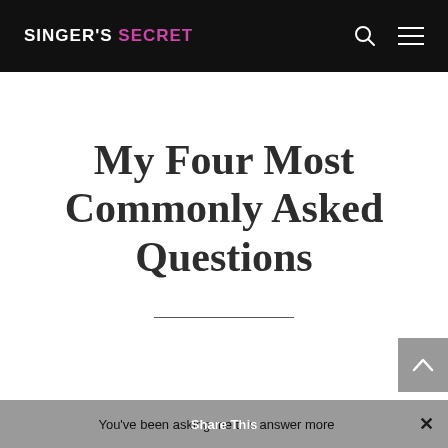SINGER'S SECRET
My Four Most Commonly Asked Questions
You've been asking me this answer more
Share This